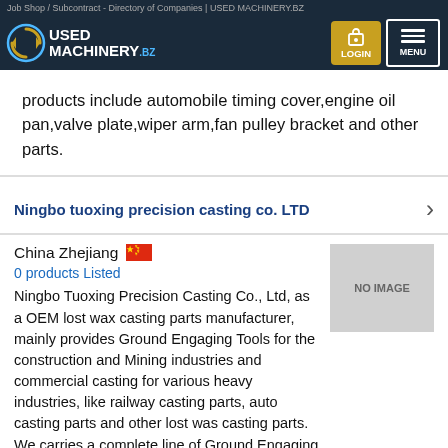Job Shop / Subcontract - Directory of Companies | USED MACHINERY.BZ
products include automobile timing cover,engine oil pan,valve plate,wiper arm,fan pulley bracket and other parts.
Ningbo tuoxing precision casting co. LTD
China Zhejiang
0 products Listed
Ningbo Tuoxing Precision Casting Co., Ltd, as a OEM lost wax casting parts manufacturer, mainly provides Ground Engaging Tools for the construction and Mining industries and commercial casting for various heavy industries, like railway casting parts, auto casting parts and other lost was casting parts. We carries a complete line of Ground Engaging Tools, including bucket teeth and adapters, cutting edges, side cutters, end bits,